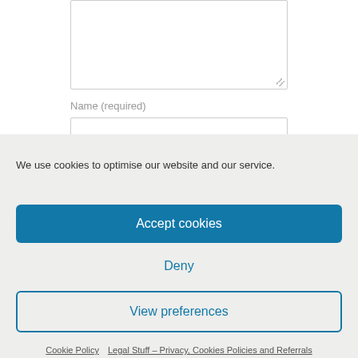[Figure (screenshot): Textarea input box (empty, resizable) at top of page]
Name (required)
[Figure (screenshot): Name input field (empty text input box)]
We use cookies to optimise our website and our service.
Accept cookies
Deny
View preferences
Cookie Policy   Legal Stuff – Privacy, Cookies Policies and Referrals